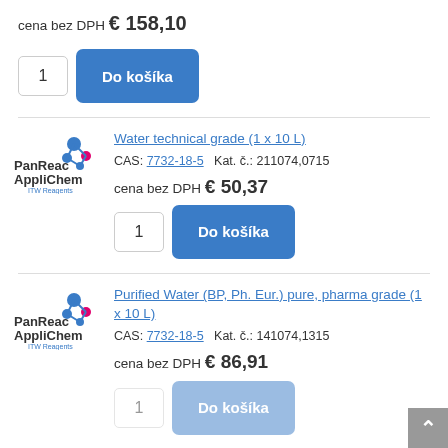cena bez DPH € 158,10
1  Do košíka
Water technical grade (1 x 10 L)
CAS: 7732-18-5  Kat. č.: 211074,0715
cena bez DPH € 50,37
1  Do košíka
Purified Water (BP, Ph. Eur.) pure, pharma grade (1 x 10 L)
CAS: 7732-18-5  Kat. č.: 141074,1315
cena bez DPH € 86,91